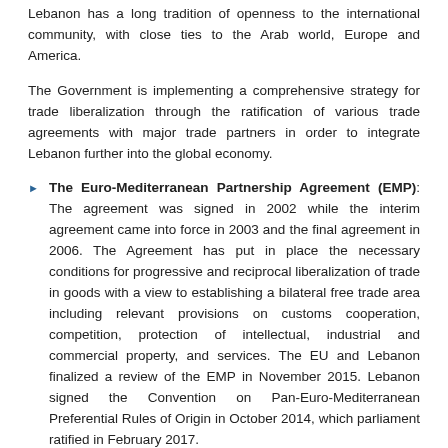Lebanon has a long tradition of openness to the international community, with close ties to the Arab world, Europe and America.
The Government is implementing a comprehensive strategy for trade liberalization through the ratification of various trade agreements with major trade partners in order to integrate Lebanon further into the global economy.
The Euro-Mediterranean Partnership Agreement (EMP): The agreement was signed in 2002 while the interim agreement came into force in 2003 and the final agreement in 2006. The Agreement has put in place the necessary conditions for progressive and reciprocal liberalization of trade in goods with a view to establishing a bilateral free trade area including relevant provisions on customs cooperation, competition, protection of intellectual, industrial and commercial property, and services. The EU and Lebanon finalized a review of the EMP in November 2015. Lebanon signed the Convention on Pan-Euro-Mediterranean Preferential Rules of Origin in October 2014, which parliament ratified in February 2017.
Free Trade Agreement with the European Free Trade Association(EFTA): In June 2004, a free trade agreement between the European Free Trade Association (EFTA) and Lebanon was signed which grants Lebanese industrial exports (including fish and